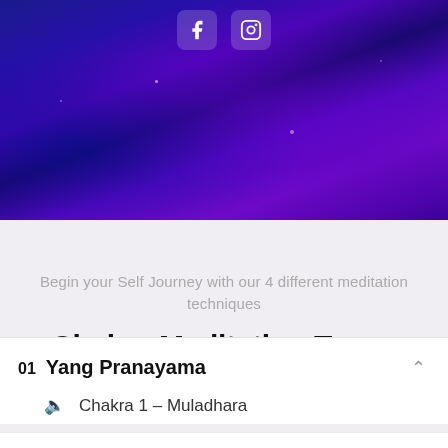[Figure (photo): Dark blue and purple cosmic/nebula background with social media icons (Facebook and Instagram) at the top center]
Begin your Self Journey with our 4 different meditation techniques
Chakra Meditation Types
01 Yang Pranayama
Chakra 1 - Muladhara